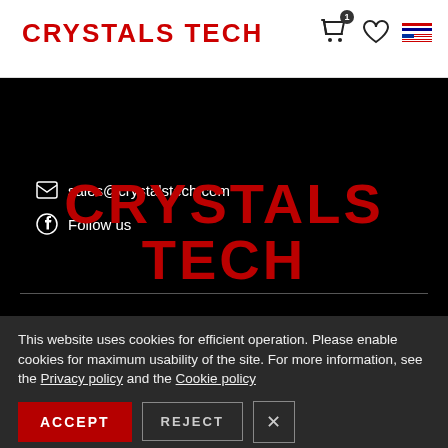CRYSTALS TECH
[Figure (screenshot): Black website section showing email contact sales@crystalstech.com, Follow us link, large CRYSTALS TECH logo in dark red on black background with horizontal divider]
This website uses cookies for efficient operation. Please enable cookies for maximum usability of the site. For more information, see the Privacy policy and the Cookie policy
ACCEPT   REJECT   X